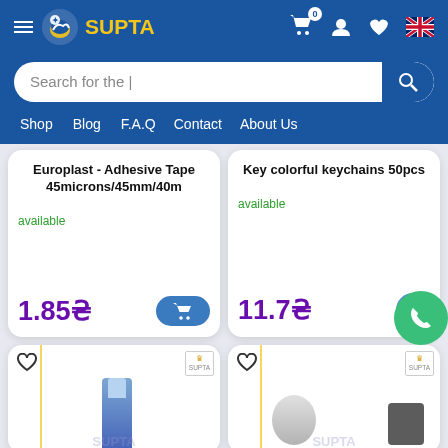[Figure (screenshot): SUPTA e-commerce website header with logo, hamburger menu, cart icon with badge showing 0, user icon, heart icon, and UK flag icon]
[Figure (screenshot): Search bar with text 'Search for the |' and blue search button]
Shop  Blog  F.A.Q  Contact  About Us
Europlast - Adhesive Tape 45microns/45mm/40m
available
1.85₴
Key colorful keychains 50pcs
available
11.7₴
[Figure (photo): Partial view of a blue marker/pen product card with heart icon and SUPTA badge]
[Figure (photo): Partial view of a tape roll and black item product card with heart icon and SUPTA badge]